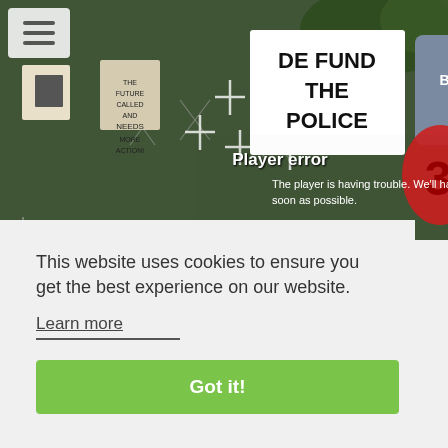[Figure (photo): Protest scene with a chain-link fence displaying signs including 'DEFUND THE POLICE', 'HAPPY BIRTHDAY TO YOU', and 'THE FUTURE CALLED AND NEEDS MORE ACTION', with crosses and balloons visible. A player error overlay reads: 'Player error – The player is having trouble. We'll have it back up as soon as possible.']
This website uses cookies to ensure you get the best experience on our website.
Learn more
Got it!